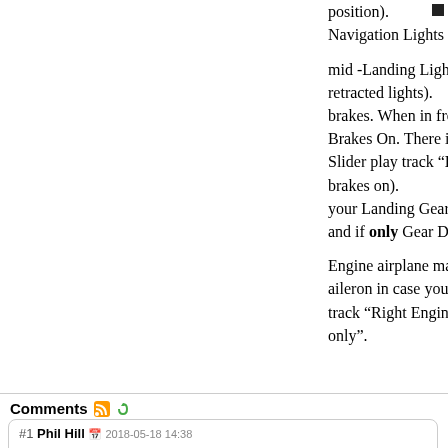position).
Navigation Lights Off, Switch SD Mid -Navigati
mid -Landing Lights Up, LS Slider Front  -Landi
retracted lights).
brakes. When in front position -Brake Release, w
Brakes On. There is also a warning every 6 sec if
Slider play track “Brakes On” (this avoid you to
brakes on).
your Landing Gears Up or Down position you ca
and if only Gear Down (Switch SF Up) play Trac

Engine airplane maybe you lose one of the them.
aileron in case you lose one of your engines. Wh
track “Right Engine only”, When turn knob to le
only”.
Comments
#1 Phil Hill 2018-05-18 14:38
Do you have the sound file for this program?
Refresh comments list
RSS feed for comments to this post